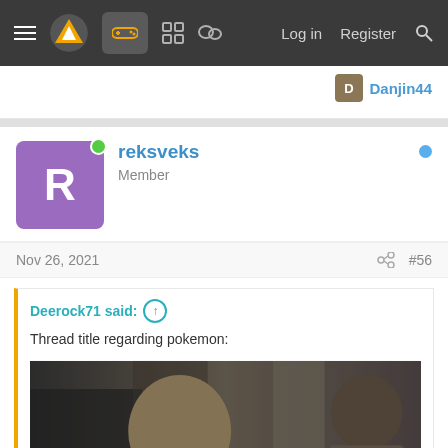Navigation bar with menu, logo, gamepad icon, grid icon, chat icon, Log in, Register, Search
Danjin44
reksveks
Member
Nov 26, 2021   #56
Deerock71 said: ↑
Thread title regarding pokemon:
[image: That goes...]
Click to expand...
It's just a comment on pokemon being infallible in terms of